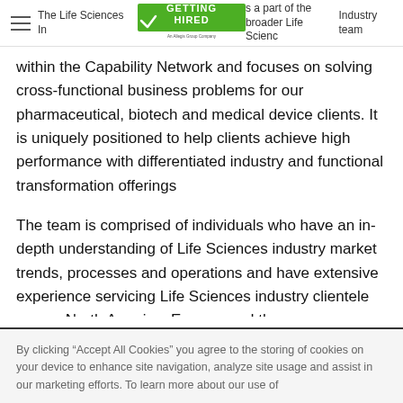The Life Sciences Industry [Getting Hired logo] is a part of the broader Life Sciences Industry team
within the Capability Network and focuses on solving cross-functional business problems for our pharmaceutical, biotech and medical device clients. It is uniquely positioned to help clients achieve high performance with differentiated industry and functional transformation offerings
The team is comprised of individuals who have an in-depth understanding of Life Sciences industry market trends, processes and operations and have extensive experience servicing Life Sciences industry clientele across North America, Europe, and the
By clicking “Accept All Cookies” you agree to the storing of cookies on your device to enhance site navigation, analyze site usage and assist in our marketing efforts. To learn more about our use of